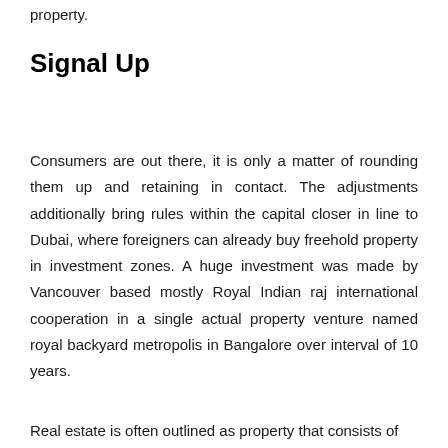property.
Signal Up
Consumers are out there, it is only a matter of rounding them up and retaining in contact. The adjustments additionally bring rules within the capital closer in line to Dubai, where foreigners can already buy freehold property in investment zones. A huge investment was made by Vancouver based mostly Royal Indian raj international cooperation in a single actual property venture named royal backyard metropolis in Bangalore over interval of 10 years.
Real estate is often outlined as property that consists of